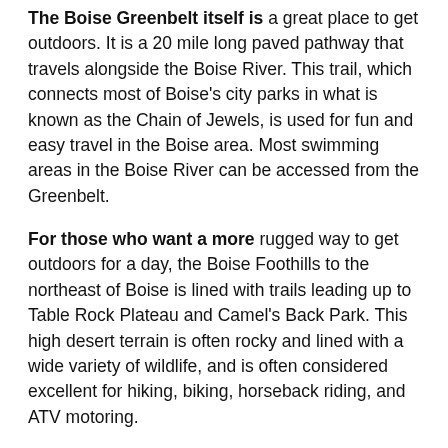The Boise Greenbelt itself is a great place to get outdoors. It is a 20 mile long paved pathway that travels alongside the Boise River. This trail, which connects most of Boise's city parks in what is known as the Chain of Jewels, is used for fun and easy travel in the Boise area. Most swimming areas in the Boise River can be accessed from the Greenbelt.
For those who want a more rugged way to get outdoors for a day, the Boise Foothills to the northeast of Boise is lined with trails leading up to Table Rock Plateau and Camel's Back Park. This high desert terrain is often rocky and lined with a wide variety of wildlife, and is often considered excellent for hiking, biking, horseback riding, and ATV motoring.
Some people want to get into the outdoors for